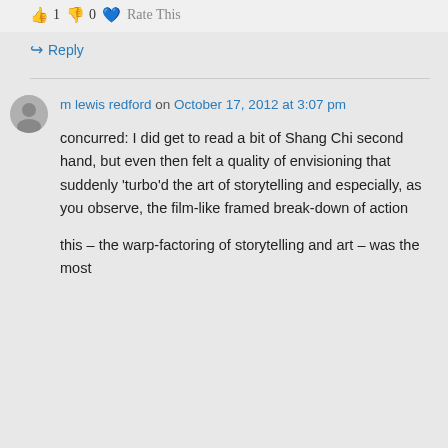1 0 Rate This
Reply
m lewis redford on October 17, 2012 at 3:07 pm
concurred: I did get to read a bit of Shang Chi second hand, but even then felt a quality of envisioning that suddenly ‘turbo’d the art of storytelling and especially, as you observe, the film-like framed break-down of action
this – the warp-factoring of storytelling and art – was the most